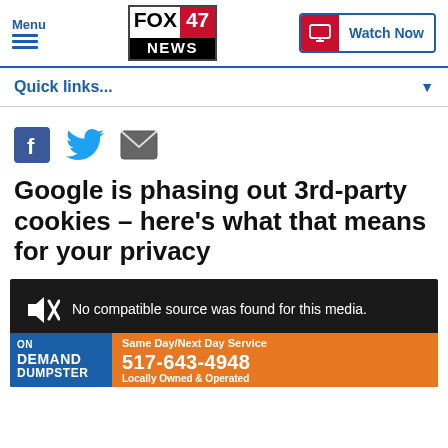[Figure (logo): FOX 47 NEWS logo with red 47 and black NEWS bar]
Menu
Watch Now
Quick links...
[Figure (infographic): Social share icons: Facebook, Twitter, Email]
Google is phasing out 3rd-party cookies – here's what that means for your privacy
[Figure (screenshot): Video media player showing 'No compatible source was found for this media.' with On Demand Dumpster advertisement banner showing 517-643-4948, Same Day/Next Day Service, Locally Owned & Operated]